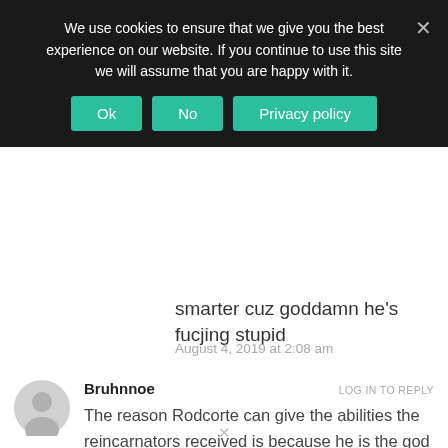We use cookies to ensure that we give you the best experience on our website. If you continue to use this site we will assume that you are happy with it.
Ok | No | Privacy policy
smarter cuz goddamn he's fucjing stupid
August 4, 2019 at 2:08 am
Bruhnnoe
LOG IN TO REPLY
The reason Rodcorte can give the abilities the reincarnators received is because he is the god of reincarnation. And the skills change, which may be becoming stronger or more convenient or having more freedoms because the bearers are